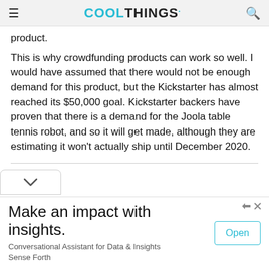COOLTHINGS
product.
This is why crowdfunding products can work so well. I would have assumed that there would not be enough demand for this product, but the Kickstarter has almost reached its $50,000 goal. Kickstarter backers have proven that there is a demand for the Joola table tennis robot, and so it will get made, although they are estimating it won't actually ship until December 2020.
[Figure (other): Comment section toggle chevron button]
Make an impact with insights. Conversational Assistant for Data & Insights Sense Forth